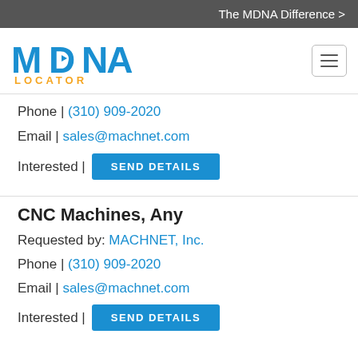The MDNA Difference >
[Figure (logo): MDNA Locator logo — blue stylized text 'MDNA' with orange 'LOCATOR' below]
Phone | (310) 909-2020
Email | sales@machnet.com
Interested | SEND DETAILS
CNC Machines, Any
Requested by: MACHNET, Inc.
Phone | (310) 909-2020
Email | sales@machnet.com
Interested | SEND DETAILS